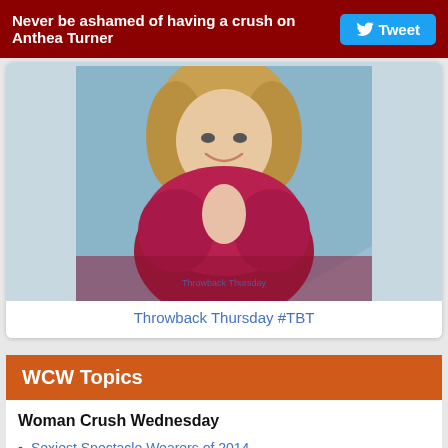Never be ashamed of having a crush on Anthea Turner  Tweet
[Figure (photo): Photo of Anthea Turner smiling, wearing a red fur coat, cropped at torso level, blue-grey background]
Throwback Thursday #TBT
WCW Topics
Woman Crush Wednesday
Sexiest Spectacle Wearers of 2014
Top 100 Most Gorgeous Australian Actresses & Models
Top 100 Beautiful Blue Eyed Blonde Haired Actresses & Celebs
Top 100 Beautiful Middle Eastern Female Celebs & Actresses